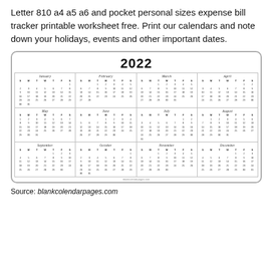Letter 810 a4 a5 a6 and pocket personal sizes expense bill tracker printable worksheet free. Print our calendars and note down your holidays, events and other important dates.
[Figure (other): 2022 yearly calendar showing all 12 months in a 4x3 grid layout with days of the week headers (S M T W T F S) and date numbers for each month from January to December 2022.]
Source: blankcolendarpages.com